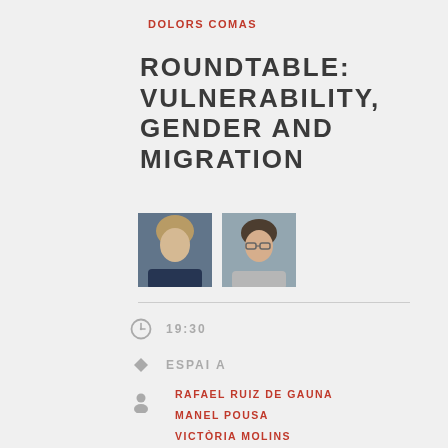DOLORS COMAS
ROUNDTABLE: VULNERABILITY, GENDER AND MIGRATION
[Figure (photo): Two portrait photos of event speakers side by side]
19:30
ESPAI A
RAFAEL RUIZ DE GAUNA
MANEL POUSA
VICTÒRIA MOLINS
RICARD GOMÀ